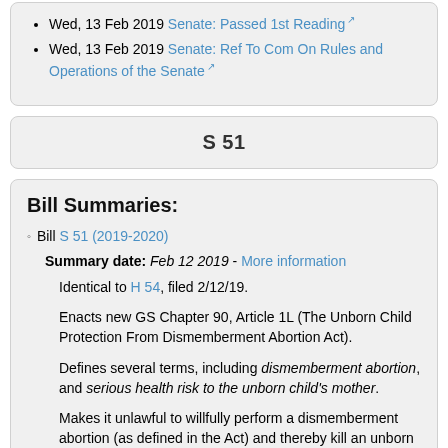Wed, 13 Feb 2019 Senate: Passed 1st Reading
Wed, 13 Feb 2019 Senate: Ref To Com On Rules and Operations of the Senate
S 51
Bill Summaries:
Bill S 51 (2019-2020) Summary date: Feb 12 2019 - More information
Identical to H 54, filed 2/12/19.
Enacts new GS Chapter 90, Article 1L (The Unborn Child Protection From Dismemberment Abortion Act).
Defines several terms, including dismemberment abortion, and serious health risk to the unborn child’s mother.
Makes it unlawful to willfully perform a dismemberment abortion (as defined in the Act) and thereby kill an unborn